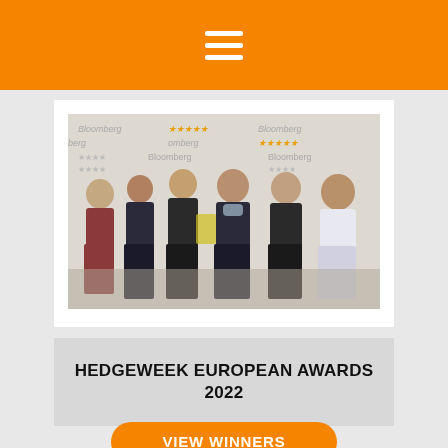[Figure (photo): Group of six people posing at an awards event with Bloomberg and Hedgeweek branded backdrop]
HEDGEWEEK EUROPEAN AWARDS 2022
VIEW WINNERS
[Figure (photo): Partially visible photo at the bottom of the page showing people at an awards event]